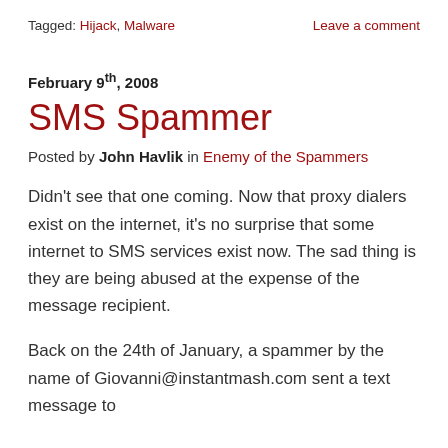Tagged: Hijack, Malware    Leave a comment
February 9th, 2008
SMS Spammer
Posted by John Havlik in Enemy of the Spammers
Didn't see that one coming. Now that proxy dialers exist on the internet, it's no surprise that some internet to SMS services exist now. The sad thing is they are being abused at the expense of the message recipient.
Back on the 24th of January, a spammer by the name of Giovanni@instantmash.com sent a text message to